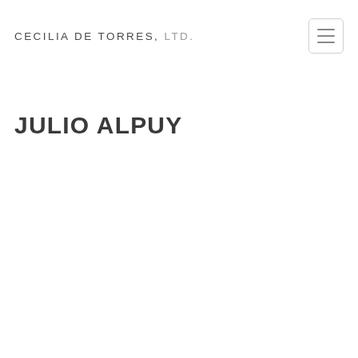CECILIA DE TORRES, LTD.
JULIO ALPUY